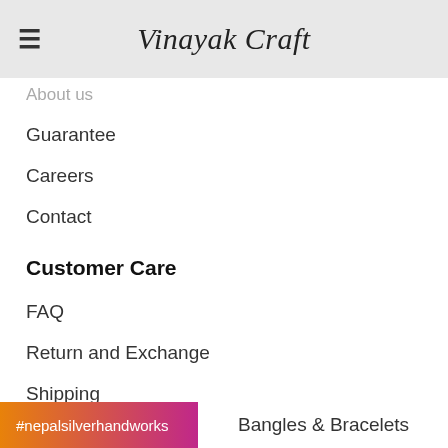Vinayak Craft
About us
Guarantee
Careers
Contact
Customer Care
FAQ
Return and Exchange
Shipping
Payment Option
Categories
#nepalsilverhandworks
Bangles & Bracelets